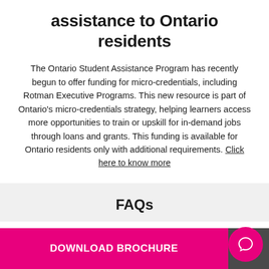assistance to Ontario residents
The Ontario Student Assistance Program has recently begun to offer funding for micro-credentials, including Rotman Executive Programs. This new resource is part of Ontario's micro-credentials strategy, helping learners access more opportunities to train or upskill for in-demand jobs through loans and grants. This funding is available for Ontario residents only with additional requirements. Click here to know more
FAQs
DOWNLOAD BROCHURE